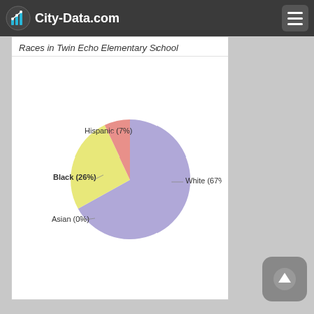City-Data.com
Races in Twin Echo Elementary School
[Figure (pie-chart): Races in Twin Echo Elementary School]